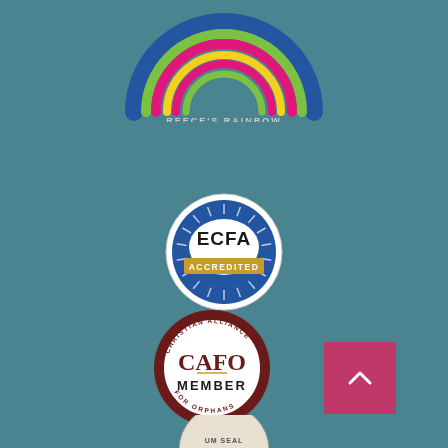[Figure (logo): Reece's Rainbow Special Needs Adoption Support logo with colorful rainbow arc in blue, pink, green, yellow colors and text below]
[Figure (logo): ECFA Accredited badge - circular blue and white seal with sunburst pattern, 'ECFA' in bold black text, 'ACCREDITED' in gold/yellow text on blue banner]
[Figure (logo): CAFO Member badge - circular seal with dark red border, 'CHRISTIAN ALLIANCE' text around top, 'CAFO MEMBER' in center, 'FOR ORPHANS' around bottom]
[Figure (logo): Partially visible seal at bottom of page with 'UM SEAL' text visible]
[Figure (other): Pink/magenta square scroll-to-top button with upward chevron arrow]